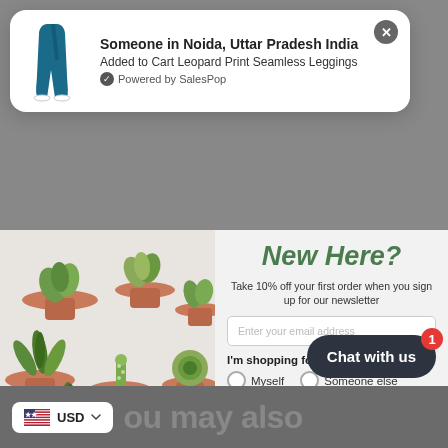[Figure (screenshot): Notification popup showing: 'Someone in Noida, Uttar Pradesh India Added to Cart Leopard Print Seamless Leggings. Powered by SalesPop' with a blue leggings image and a close X button]
[Figure (photo): Photo of various succulent plants in terracotta pots on a light background]
New Here?
Take 10% off your first order when you sign up for our newsletter
Enter your email address
I'm shopping for:
Myself   Someone else
Sign up for free
USD
ou may also
Chat with us